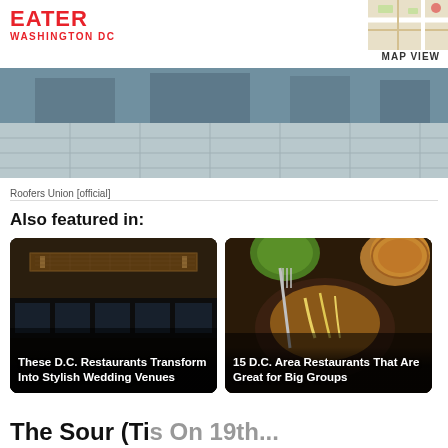EATER WASHINGTON DC
[Figure (photo): Street-level exterior photo of Roofers Union restaurant, showing pavement tiles]
Roofers Union [official]
Also featured in:
[Figure (photo): Interior of a restaurant with industrial ceiling and lighting, caption: These D.C. Restaurants Transform Into Stylish Wedding Venues]
[Figure (photo): Overhead food photo showing cheesy dish with fork, bread and green item, caption: 15 D.C. Area Restaurants That Are Great for Big Groups]
The Sour (Ti s On 19th...